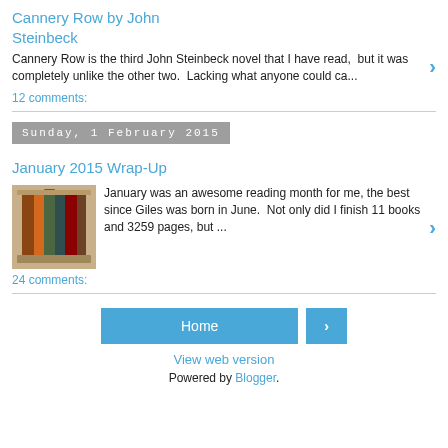Cannery Row by John Steinbeck
Cannery Row is the third John Steinbeck novel that I have read,  but it was completely unlike the other two.  Lacking what anyone could ca...
12 comments:
Sunday, 1 February 2015
January 2015 Wrap-Up
[Figure (photo): Stack of books photo]
January was an awesome reading month for me, the best since Giles was born in June.  Not only did I finish 11 books and 3259 pages, but ...
24 comments:
Home
View web version
Powered by Blogger.